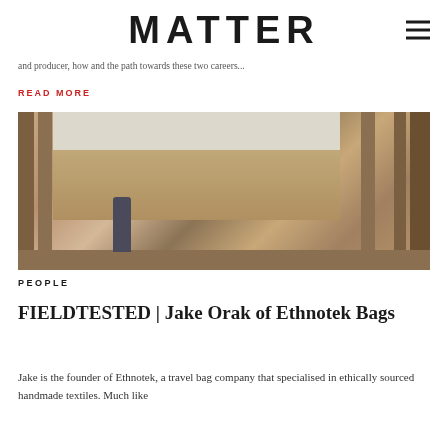MATTER
and producer, how and the path towards these two careers...
READ MORE
[Figure (photo): Person with backpack walking through ornate Indian temple with carved stone columns]
PEOPLE
FIELDTESTED | Jake Orak of Ethnotek Bags
Jake is the founder of Ethnotek, a travel bag company that specialised in ethically sourced handmade textiles. Much like